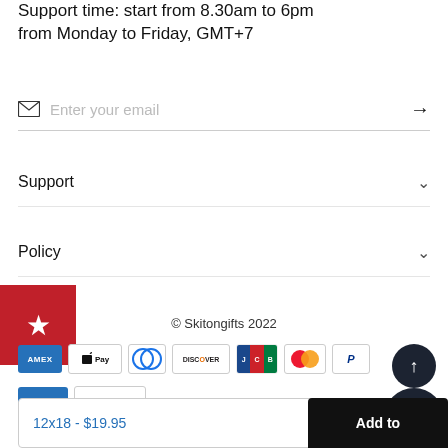Support time: start from 8.30am to 6pm from Monday to Friday, GMT+7
Enter your email
Support
Policy
[Figure (logo): Red badge with white star]
© Skitongifts 2022
[Figure (other): Payment icons: AMEX, Apple Pay, Diners, Discover, JCB, Mastercard, PayPal]
12x18 - $19.95
Add to